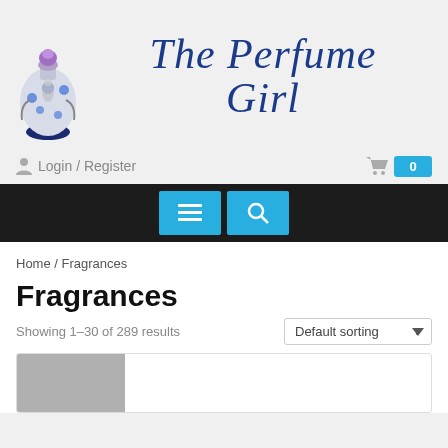[Figure (logo): The Perfume Girl logo with decorative perfume bottle illustration and cursive blue script text]
Login / Register
0
[Figure (screenshot): Black navigation bar with cyan hamburger menu button and cyan search button]
Home / Fragrances
Fragrances
Showing 1–30 of 289 results
Default sorting
[Figure (photo): Partial product image at bottom of page]